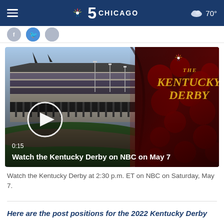NBC 5 CHICAGO — 70°
[Figure (screenshot): Video thumbnail showing Kentucky Derby racetrack with grandstands and crowd, overlaid with Kentucky Derby NBC logo on red rose background. Play button visible. Duration 0:15. Title: Watch the Kentucky Derby on NBC on May 7]
Watch the Kentucky Derby at 2:30 p.m. ET on NBC on Saturday, May 7.
Here are the post positions for the 2022 Kentucky Derby